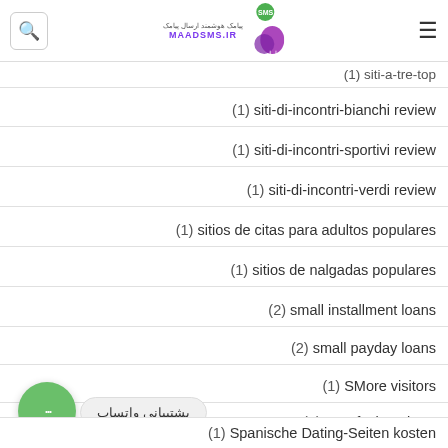MAADSMS.IR header with logo and search
(1) siti-di-incontri-bianchi review
(1) siti-di-incontri-sportivi review
(1) siti-di-incontri-verdi review
(1) sitios de citas para adultos populares
(1) sitios de nalgadas populares
(2) small installment loans
(2) small payday loans
(1) SMore visitors
(1) snapfuck reviews
(1) Spanische Dating-Seiten kosten